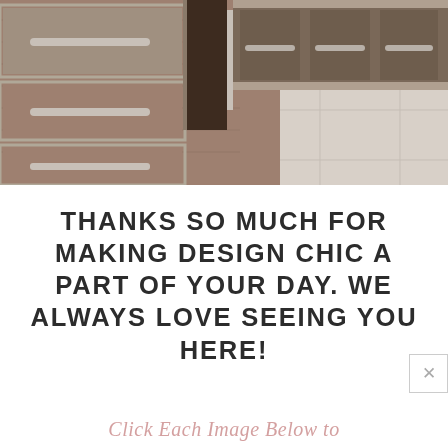[Figure (photo): Close-up photo of luxury furniture: wooden drawers with metal handles and dark wood corner joint, on a marble/tile floor background]
THANKS SO MUCH FOR MAKING DESIGN CHIC A PART OF YOUR DAY. WE ALWAYS LOVE SEEING YOU HERE!
Click Each Image Below to